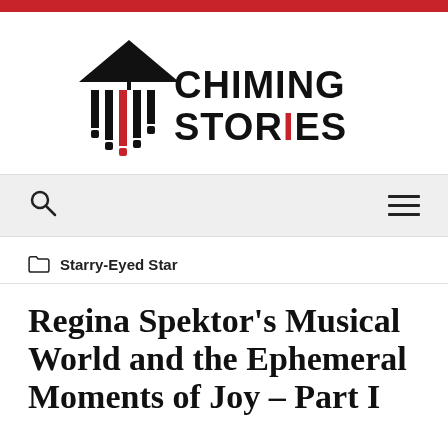[Figure (logo): Chiming Stories logo with wind chime graphic and bold text]
Navigation bar with search icon and menu icon
Starry-Eyed Star
Regina Spektor's Musical World and the Ephemeral Moments of Joy – Part I